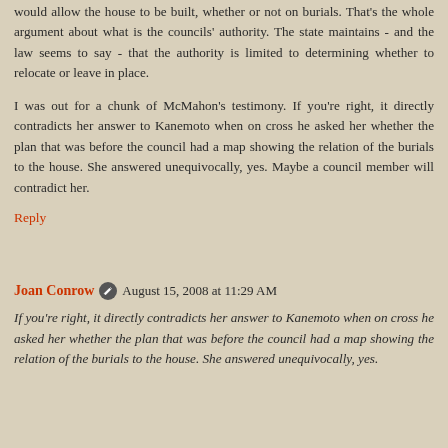would allow the house to be built, whether or not on burials. That's the whole argument about what is the councils' authority. The state maintains - and the law seems to say - that the authority is limited to determining whether to relocate or leave in place.
I was out for a chunk of McMahon's testimony. If you're right, it directly contradicts her answer to Kanemoto when on cross he asked her whether the plan that was before the council had a map showing the relation of the burials to the house. She answered unequivocally, yes. Maybe a council member will contradict her.
Reply
Joan Conrow  August 15, 2008 at 11:29 AM
If you're right, it directly contradicts her answer to Kanemoto when on cross he asked her whether the plan that was before the council had a map showing the relation of the burials to the house. She answered unequivocally, yes.